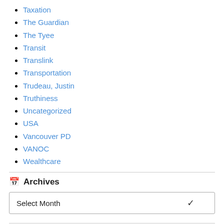Taxation
The Guardian
The Tyee
Transit
Translink
Transportation
Trudeau, Justin
Truthiness
Uncategorized
USA
Vancouver PD
VANOC
Wealthcare
Archives
Select Month
Recent Comments
Evil E... Definition of beer drinker batt...